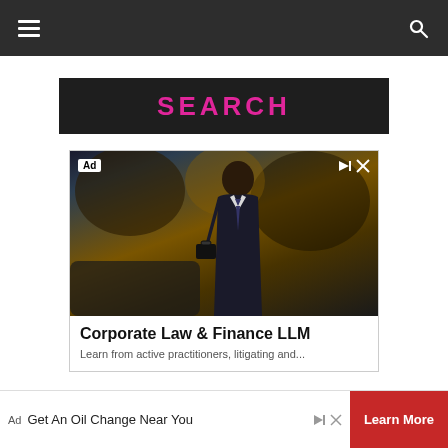Navigation bar with hamburger menu and search icon
SEARCH
[Figure (photo): Advertisement for Corporate Law & Finance LLM — a man in a business suit walking near cars with a golden sunset background. Ad label and close/play controls visible in top corners.]
Corporate Law & Finance LLM
Learn from active practitioners, litigating and...
[Figure (other): Bottom banner ad: Get An Oil Change Near You with a Learn More red button and ad attribution controls]